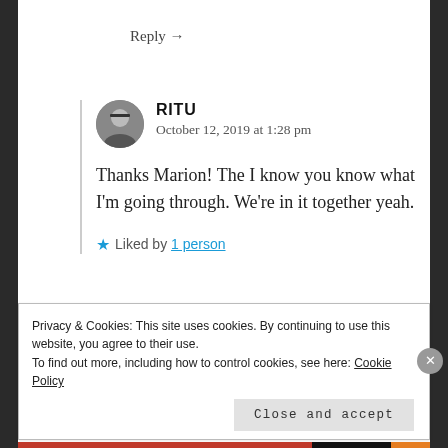Reply →
RITU
October 12, 2019 at 1:28 pm
Thanks Marion! The I know you know what I'm going through. We're in it together yeah.
★ Liked by 1 person
Privacy & Cookies: This site uses cookies. By continuing to use this website, you agree to their use.
To find out more, including how to control cookies, see here: Cookie Policy
Close and accept